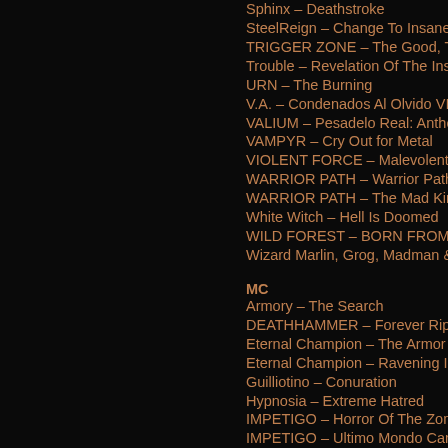Sphinx – Deathstroke
SteelReign – Change To Insane
TRIGGER ZONE – The Good, The B…
Trouble – Revelation Of The Insane
URN – The Burning
V.A. – Condenados Al Olvido VI – S…
VALIUM – Pesadelo Real: Antholog…
VAMPYR – Cry Out for Metal
VIOLENT FORCE – Malevolent Ass…
WARRIOR PATH – Warrior Path
WARRIOR PATH – The Mad King
White Witch – Hell Is Doomed
WILD FOREST – BORN FROM WIT…
Wizard Marlin, Grog, Madman & Th…
MC
Armory – The Search
DEATHHAMMER – Forever Ripping…
Eternal Champion – The Armor of Ir…
Eternal Champion – Ravening Iron
Guilliotino – Conuration
Hypnosia – Extreme Hatred
IMPETIGO – Horror Of The Zombie…
IMPETIGO – Ultimo Mondo Canniba…
Kontact – First Kontakt